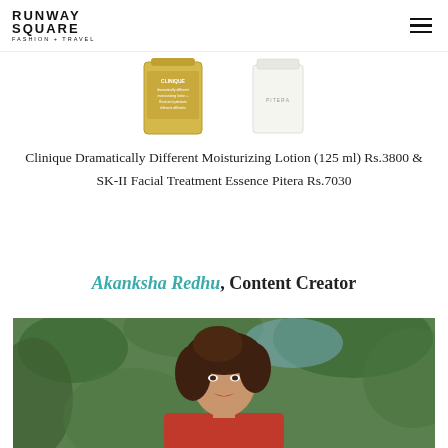RUNWAY SQUARE FASHION + TRAVEL
[Figure (photo): Two skincare products: Clinique Dramatically Different Moisturizing Lotion (yellow bottle) and SK-II Facial Treatment Essence (white bottle)]
Clinique Dramatically Different Moisturizing Lotion (125 ml) Rs.3800 & SK-II Facial Treatment Essence Pitera Rs.7030
Akanksha Redhu, Content Creator
[Figure (photo): Portrait of Akanksha Redhu, a woman with curly brown hair, red lips, wearing a red outfit, set against green foliage background]